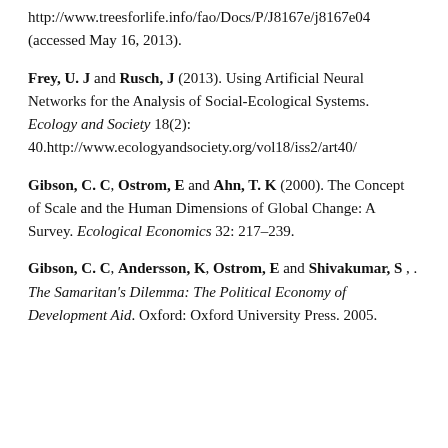http://www.treesforlife.info/fao/Docs/P/J8167e/j8167e04 (accessed May 16, 2013).
Frey, U. J and Rusch, J (2013). Using Artificial Neural Networks for the Analysis of Social-Ecological Systems. Ecology and Society 18(2): 40.http://www.ecologyandsociety.org/vol18/iss2/art40/
Gibson, C. C, Ostrom, E and Ahn, T. K (2000). The Concept of Scale and the Human Dimensions of Global Change: A Survey. Ecological Economics 32: 217–239.
Gibson, C. C, Andersson, K, Ostrom, E and Shivakumar, S , . The Samaritan's Dilemma: The Political Economy of Development Aid. Oxford: Oxford University Press. 2005.